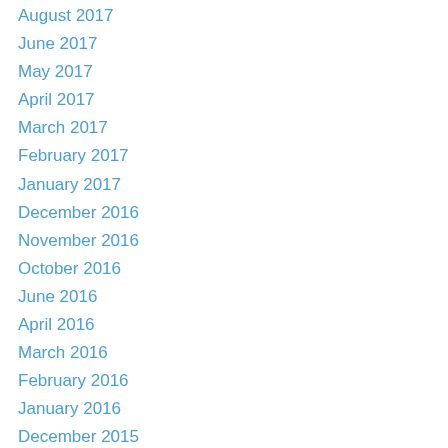August 2017
June 2017
May 2017
April 2017
March 2017
February 2017
January 2017
December 2016
November 2016
October 2016
June 2016
April 2016
March 2016
February 2016
January 2016
December 2015
November 2015
October 2015
September 2015
August 2015